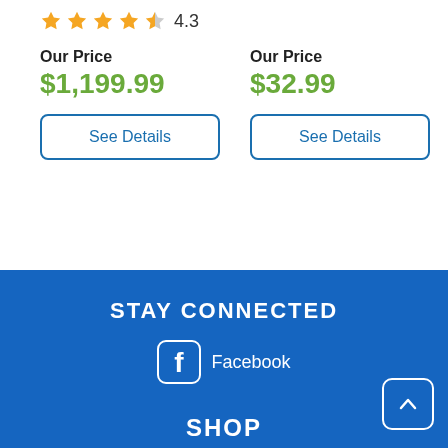4.3 stars rating
Our Price $1,199.99
Our Price $32.99
See Details
See Details
STAY CONNECTED
Facebook
SHOP